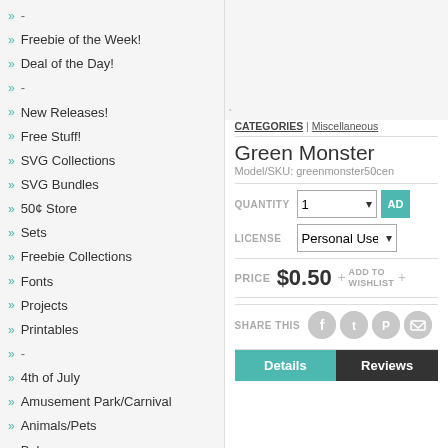-
Freebie of the Week!
Deal of the Day!
-
New Releases!
Free Stuff!
SVG Collections
SVG Bundles
50¢ Store
Sets
Freebie Collections
Fonts
Projects
Printables
-
4th of July
Amusement Park/Carnival
Animals/Pets
Baby
Beach/Ocean/Tropical
Birthday
CATEGORIES | Miscellaneous
Green Monster
Model/SKU: greenmonster50cen
QUANTITY  1  AD
LICENSE  Personal Use
PRICE $0.50 + ADD TO WISHLIST +
SHARE THIS
Details  Reviews